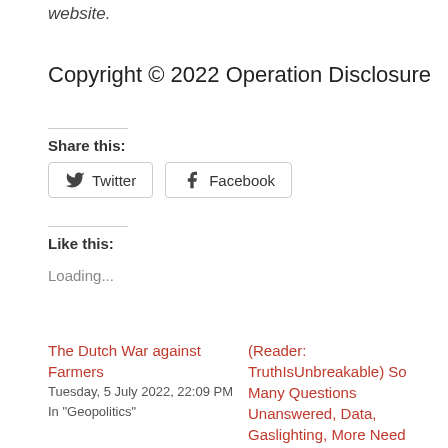website.
Copyright © 2022 Operation Disclosure
Share this:
Twitter  Facebook
Like this:
Loading...
The Dutch War against Farmers
Tuesday, 5 July 2022, 22:09 PM
In "Geopolitics"
(Reader: TruthIsUnbreakable) So Many Questions Unanswered, Data, Gaslighting, More Need Healing, Pox, and True Loyalties Lie